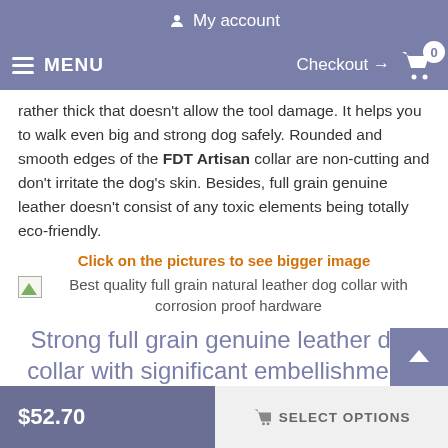My account
MENU  Checkout → 0
rather thick that doesn't allow the tool damage. It helps you to walk even big and strong dog safely. Rounded and smooth edges of the FDT Artisan collar are non-cutting and don't irritate the dog's skin. Besides, full grain genuine leather doesn't consist of any toxic elements being totally eco-friendly.
Click on the pictures to see bigger image
Best quality full grain natural leather dog collar with corrosion proof hardware
Strong full grain genuine leather dog collar with significant embellishments
What about the decorations, they are fancy! Catchy studs are along the leather strap. These decorations are brass plated a
$52.70   SELECT OPTIONS